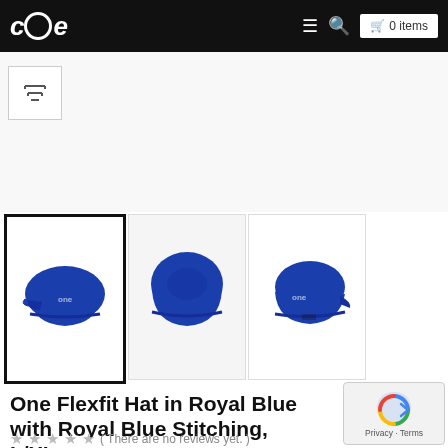One — 0 items
[Figure (screenshot): Product thumbnail 1: Royal blue flexfit hat front view with One logo, selected (black border)]
[Figure (screenshot): Product thumbnail 2: Royal blue flexfit hat back/top view]
[Figure (screenshot): Product thumbnail 3: Royal blue flexfit hat side/back view with One logo stitching]
One Flexfit Hat in Royal Blue with Royal Blue Stitching, L/XL
( There are no reviews yet. )